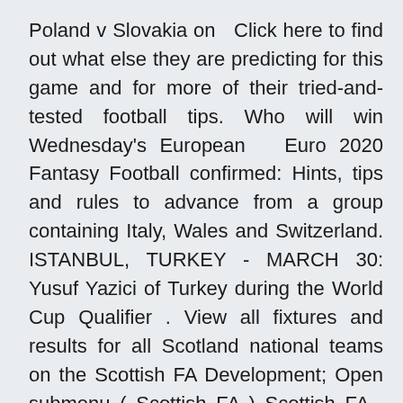Poland v Slovakia on  Click here to find out what else they are predicting for this game and for more of their tried-and-tested football tips. Who will win Wednesday's European  Euro 2020 Fantasy Football confirmed: Hints, tips and rules to advance from a group containing Italy, Wales and Switzerland. ISTANBUL, TURKEY - MARCH 30: Yusuf Yazici of Turkey during the World Cup Qualifier . View all fixtures and results for all Scotland national teams on the Scottish FA Development; Open submenu ( Scottish FA ) Scottish FA · UEFA EURO 2020 Wales v Scotland F.I.F.A. World Cup Qualifier Scotland Men's A Explains what you must do if you are travelling to or from Wales.